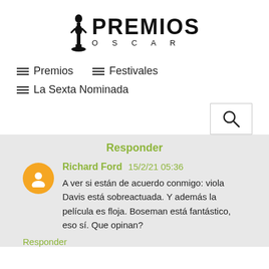[Figure (logo): Premios Oscar logo with Oscar statuette figure and bold PREMIOS text above OSCAR in spaced letters]
≡ Premios
≡ Festivales
≡ La Sexta Nominada
[Figure (other): Search button with magnifying glass icon]
Responder
Richard Ford  15/2/21 05:36
A ver si están de acuerdo conmigo: viola Davis está sobreactuada. Y además la película es floja. Boseman está fantástico, eso sí. Que opinan?
Responder